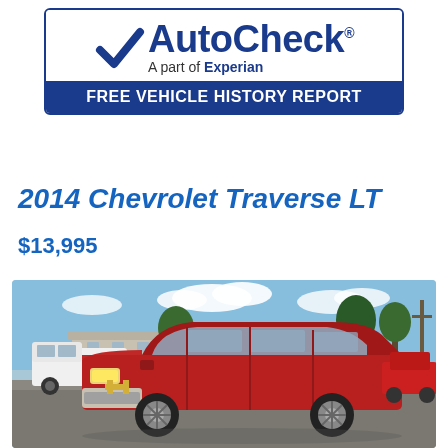[Figure (logo): AutoCheck - A part of Experian, FREE VEHICLE HISTORY REPORT logo badge]
2014 Chevrolet Traverse LT
$13,995
[Figure (photo): Red 2014 Chevrolet Traverse LT SUV photographed at a dealership lot, front three-quarter view, blue sky with clouds, white truck and buildings visible in background]